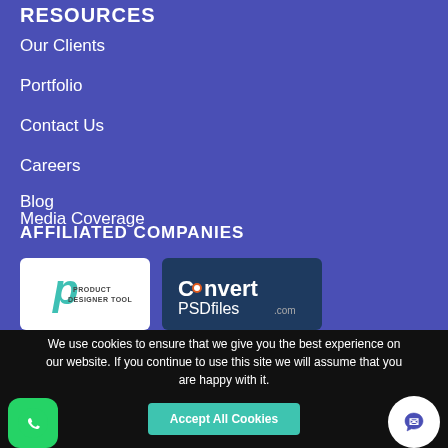RESOURCES
Our Clients
Portfolio
Contact Us
Careers
Blog
Media Coverage
AFFILIATED COMPANIES
[Figure (logo): Product Designer Tool logo - white background with teal P letter and text]
[Figure (logo): ConvertPSDfiles.com logo - dark blue background with white text]
We use cookies to ensure that we give you the best experience on our website. If you continue to use this site we will assume that you are happy with it.
Accept All Cookies